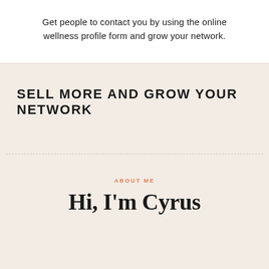Get people to contact you by using the online wellness profile form and grow your network.
SELL MORE AND GROW YOUR NETWORK
ABOUT ME
Hi, I'm Cyrus